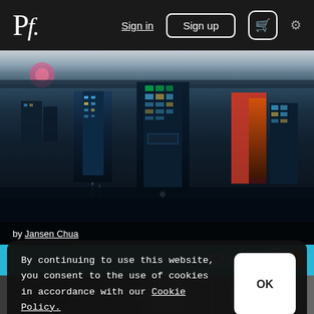Pf. Sign in | Sign up | Cart | Settings
[Figure (photo): Inverted/reflected nighttime cityscape with skyscrapers reflected in water, blue and dark tones]
by Jansen Chua
$21.68
[Figure (photo): Black and white architectural photo, partially visible at bottom of page]
By continuing to use this website, you consent to the use of cookies in accordance with our Cookie Policy.